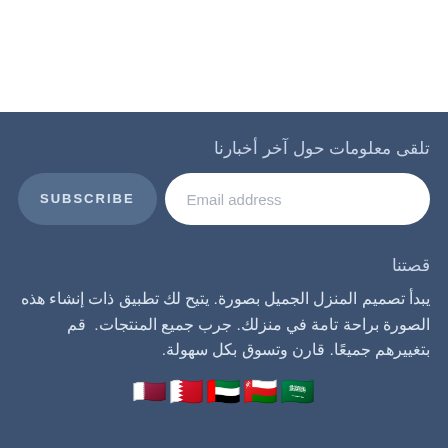تلقى معلومات حول آخر أخبارنا
SUBSCRIBE  Email address
قصتنا
يبدأ تصميم المنزل الجميل بصورة. يتيح لك تطبيق ذات إنشاء هذه الصورة براحة تامة في منزلك. جرب جميع المنتجات.  قم بتغييرهم جميعًا. قارن وتسوق بكل سهولة.
[Figure (illustration): Five 3D hexagonal flag emoji icons representing Qatar, Bahrain, UAE, Oman, and Saudi Arabia]